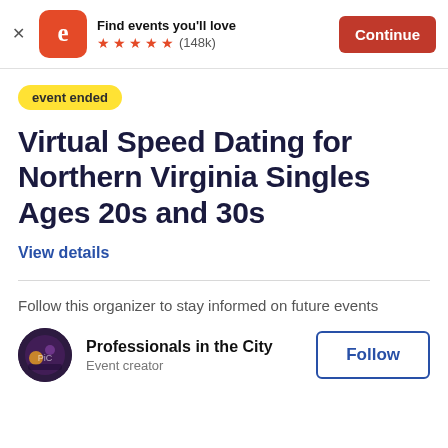[Figure (screenshot): Eventbrite app banner with orange rounded-square logo featuring a white 'e', text 'Find events you'll love', five orange stars rating, (148k) reviews, and an orange 'Continue' button]
event ended
Virtual Speed Dating for Northern Virginia Singles Ages 20s and 30s
View details
Follow this organizer to stay informed on future events
Professionals in the City
Event creator
Follow